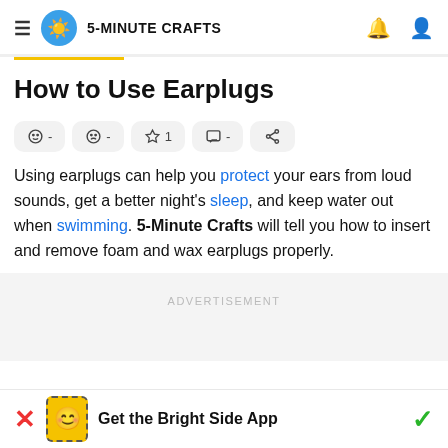5-MINUTE CRAFTS
How to Use Earplugs
[Figure (infographic): Row of action buttons: smiley face -, sad face -, star 1, comment -, share icon]
Using earplugs can help you protect your ears from loud sounds, get a better night's sleep, and keep water out when swimming. 5-Minute Crafts will tell you how to insert and remove foam and wax earplugs properly.
ADVERTISEMENT
Get the Bright Side App